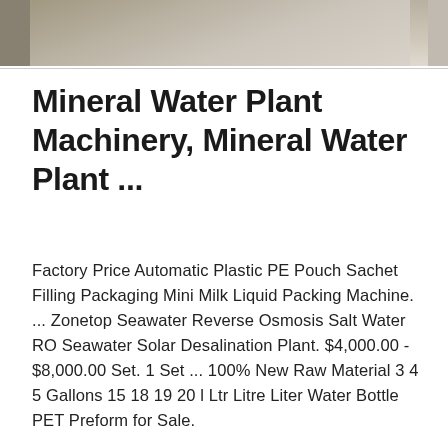[Figure (photo): Partial image of machinery or equipment, light gray/beige tones, cropped at top of page]
Mineral Water Plant Machinery, Mineral Water Plant ...
Factory Price Automatic Plastic PE Pouch Sachet Filling Packaging Mini Milk Liquid Packing Machine. ... Zonetop Seawater Reverse Osmosis Salt Water RO Seawater Solar Desalination Plant. $4,000.00 - $8,000.00 Set. 1 Set ... 100% New Raw Material 3 4 5 Gallons 15 18 19 20 l Ltr Litre Liter Water Bottle PET Preform for Sale.
Get Price